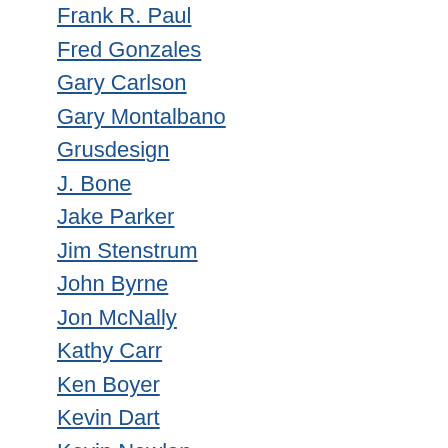Frank R. Paul
Fred Gonzales
Gary Carlson
Gary Montalbano
Grusdesign
J. Bone
Jake Parker
Jim Stenstrum
John Byrne
Jon McNally
Kathy Carr
Ken Boyer
Kevin Dart
Kevin Nowlan
Lance Falk
Larry Houston
Laurent Durieux
Les McClaine
Llyn Hunter